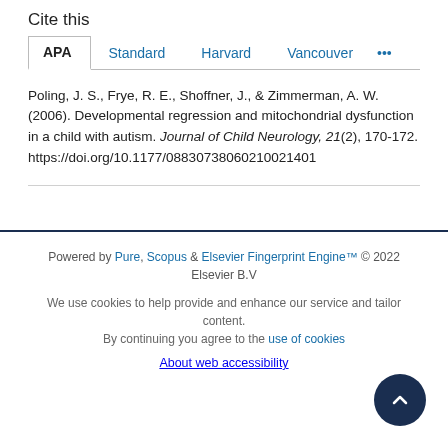Cite this
APA | Standard | Harvard | Vancouver | ...
Poling, J. S., Frye, R. E., Shoffner, J., & Zimmerman, A. W. (2006). Developmental regression and mitochondrial dysfunction in a child with autism. Journal of Child Neurology, 21(2), 170-172. https://doi.org/10.1177/08830738060210021401
Powered by Pure, Scopus & Elsevier Fingerprint Engine™ © 2022 Elsevier B.V
We use cookies to help provide and enhance our service and tailor content. By continuing you agree to the use of cookies
About web accessibility